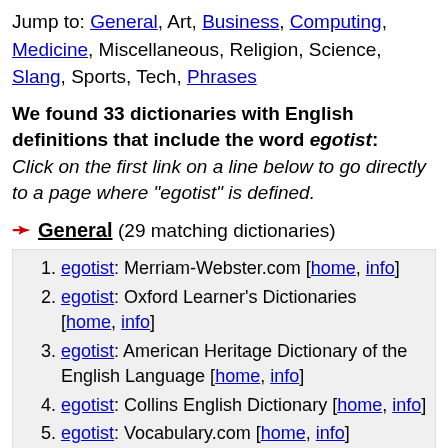Jump to: General, Art, Business, Computing, Medicine, Miscellaneous, Religion, Science, Slang, Sports, Tech, Phrases
We found 33 dictionaries with English definitions that include the word egotist: Click on the first link on a line below to go directly to a page where "egotist" is defined.
General (29 matching dictionaries)
egotist: Merriam-Webster.com [home, info]
egotist: Oxford Learner's Dictionaries [home, info]
egotist: American Heritage Dictionary of the English Language [home, info]
egotist: Collins English Dictionary [home, info]
egotist: Vocabulary.com [home, info]
egotist: Macmillan Dictionary [home, info]
Egotist, egotist: Wordnik [home, info]